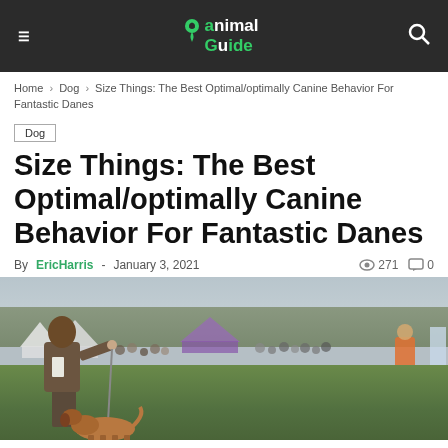Animal Guide — navigation bar with hamburger menu, logo, and search icon
Home › Dog › Size Things: The Best Optimal/optimally Canine Behavior For Fantastic Danes
Dog
Size Things: The Best Optimal/optimally Canine Behavior For Fantastic Danes
By EricHarris - January 3, 2021  271  0
[Figure (photo): A person in a brown jacket leading a dog at an outdoor dog show, with a large crowd of spectators visible in the background on a grassy field.]